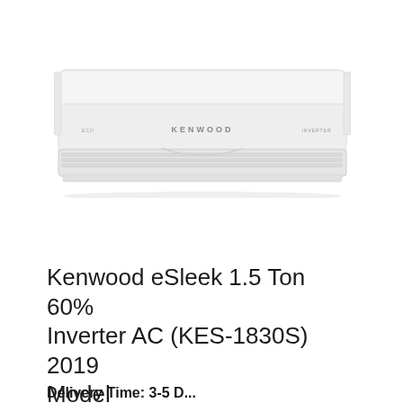[Figure (photo): Front view of a Kenwood eSleek white wall-mounted split air conditioner unit with KENWOOD branding on the front panel and small indicator lights/labels on left and right sides.]
Kenwood eSleek 1.5 Ton 60% Inverter AC (KES-1830S) 2019 Model
Delivery Time: 3-5 D...